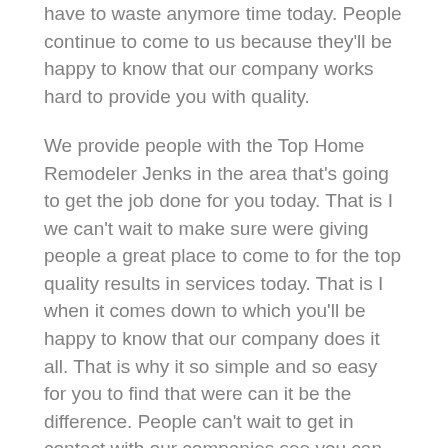have to waste anymore time today. People continue to come to us because they'll be happy to know that our company works hard to provide you with quality.
We provide people with the Top Home Remodeler Jenks in the area that's going to get the job done for you today. That is I we can't wait to make sure were giving people a great place to come to for the top quality results in services today. That is I when it comes down to which you'll be happy to know that our company does it all. That is why it so simple and so easy for you to find that were can it be the difference. People can't wait to get in contact with our companies see you can be happy with our company.
You'll be happy with the Top Home Remodeler Jenks that a company can provide for repair services and professionals because were going to be the difference in what you're looking for today. That is I